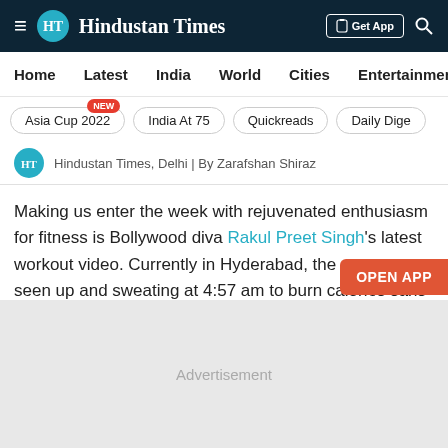≡  HT  Hindustan Times  |  Get App  🔍
Home  Latest  India  World  Cities  Entertainment
Asia Cup 2022 [NEW]  India At 75  Quickreads  Daily Dige…
Hindustan Times, Delhi | By Zarafshan Shiraz
Making us enter the week with rejuvenated enthusiasm for fitness is Bollywood diva Rakul Preet Singh's latest workout video. Currently in Hyderabad, the actor was seen up and sweating at 4:57 am to burn calories sans excuses.
[Figure (other): Advertisement placeholder area]
OPEN APP